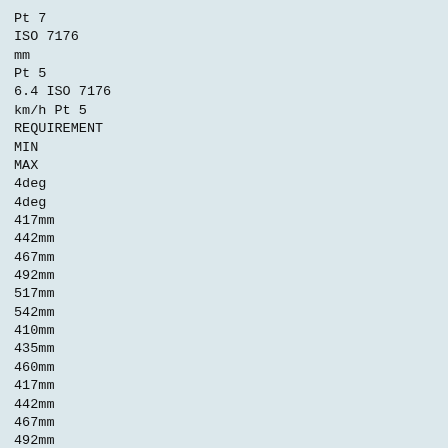Pt 7
ISO 7176
mm
Pt 5
6.4 ISO 7176
km/h Pt 5
REQUIREMENT
MIN
MAX
4deg
4deg
417mm
442mm
467mm
492mm
517mm
542mm
410mm
435mm
460mm
417mm
442mm
467mm
492mm
517mm
542mm
410mm
435mm
460mm
Seat Plane Angle
Seat Width
15in Wide
18in Wide